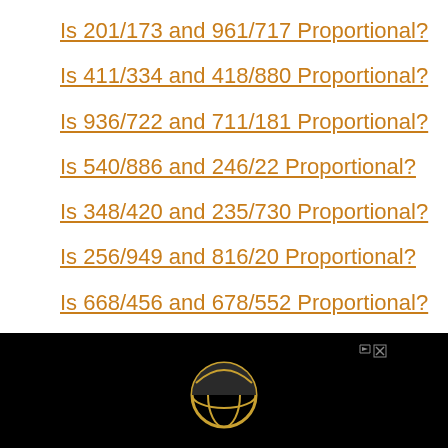Is 201/173 and 961/717 Proportional?
Is 411/334 and 418/880 Proportional?
Is 936/722 and 711/181 Proportional?
Is 540/886 and 246/22 Proportional?
Is 348/420 and 235/730 Proportional?
Is 256/949 and 816/20 Proportional?
Is 668/456 and 678/552 Proportional?
Is 905/573 and 690/122 Proportional?
[Figure (other): Advertisement banner with a globe icon on black background, with close/skip controls in top right corner.]